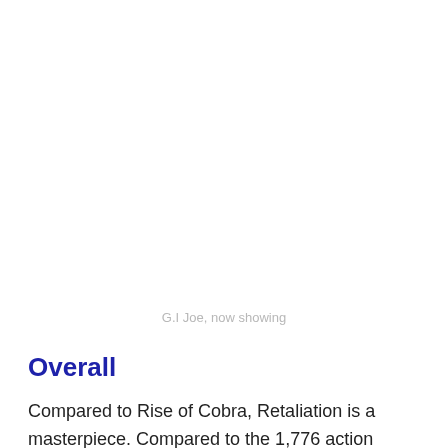G.I Joe, now showing
Overall
Compared to Rise of Cobra, Retaliation is a masterpiece. Compared to the 1,776 action movies that have come out in